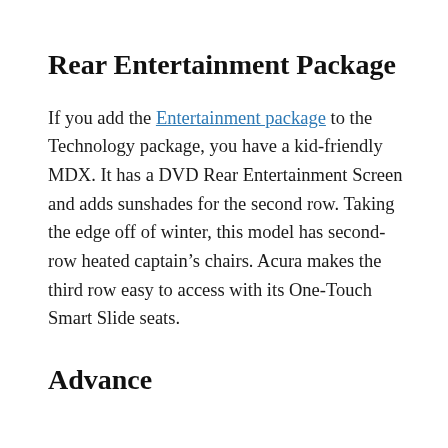Rear Entertainment Package
If you add the Entertainment package to the Technology package, you have a kid-friendly MDX. It has a DVD Rear Entertainment Screen and adds sunshades for the second row. Taking the edge off of winter, this model has second-row heated captain’s chairs. Acura makes the third row easy to access with its One-Touch Smart Slide seats.
Advance